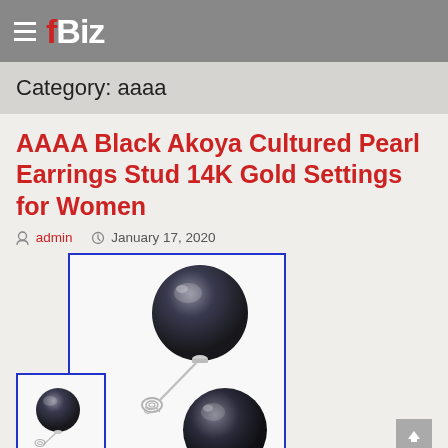fBiz
Category: aaaa
AAAA Black Akoya Cultured Pearl Earrings Stud 14K Gold Settings for Women
admin   January 17, 2020
[Figure (photo): Photo of black Akoya cultured pearl stud earrings with silver/gold settings, shown twice (main image with blue border, and thumbnail in lower left)]